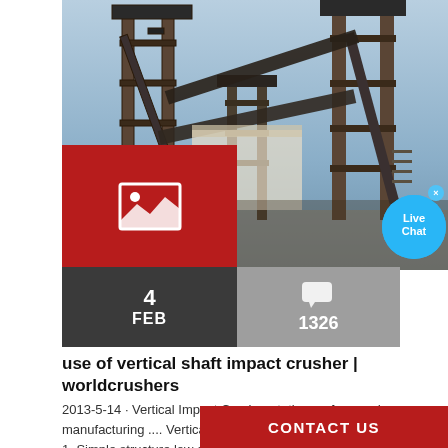[Figure (photo): Industrial mining/crushing equipment with large metal conveyor frames and machinery against a blue sky background]
use of vertical shaft impact crusher | worldcrushers
2013-5-14 · Vertical Impact Crusher stationary for powder manufacturing .... Vertical Shaft impact crusher Features. 1. Simple structure,low cost. 2. High quality and low consumption. 3. Primary and second crushing capacity. 4.